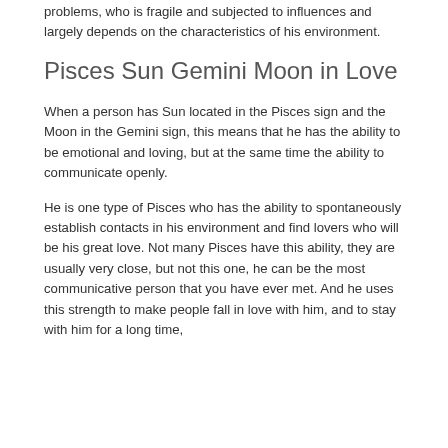problems, who is fragile and subjected to influences and largely depends on the characteristics of his environment.
Pisces Sun Gemini Moon in Love
When a person has Sun located in the Pisces sign and the Moon in the Gemini sign, this means that he has the ability to be emotional and loving, but at the same time the ability to communicate openly.
He is one type of Pisces who has the ability to spontaneously establish contacts in his environment and find lovers who will be his great love. Not many Pisces have this ability, they are usually very close, but not this one, he can be the most communicative person that you have ever met. And he uses this strength to make people fall in love with him, and to stay with him for a long time,